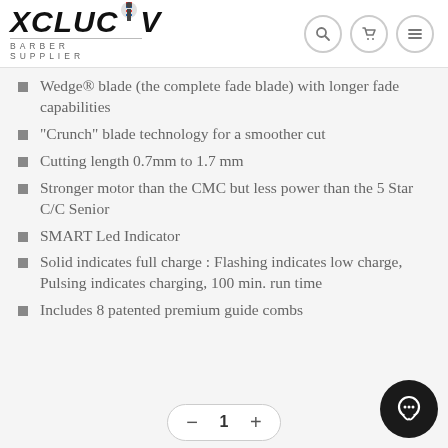XCLUCIV BARBER SUPPLIER
Wedge® blade (the complete fade blade) with longer fade capabilities
“Crunch” blade technology for a smoother cut
Cutting length 0.7mm to 1.7 mm
Stronger motor than the CMC but less power than the 5 Star C/C Senior
SMART Led Indicator
Solid indicates full charge : Flashing indicates low charge, Pulsing indicates charging, 100 min. run time
Includes 8 patented premium guide combs